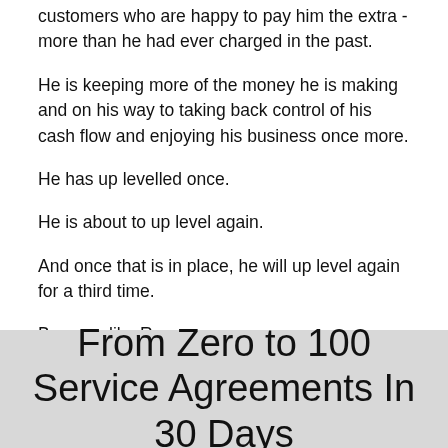customers who are happy to pay him the extra - more than he had ever charged in the past.
He is keeping more of the money he is making and on his way to taking back control of his cash flow and enjoying his business once more.
He has up levelled once.
He is about to up level again.
And once that is in place, he will up level again for a third time.
Be more like Ron
From Zero to 100 Service Agreements In 30 Days